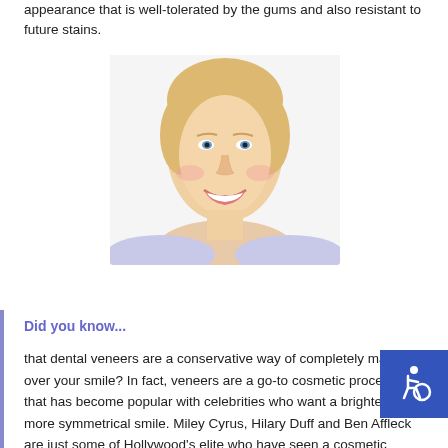appearance that is well-tolerated by the gums and also resistant to future stains.
[Figure (photo): A smiling blonde woman with bright white teeth, shown from shoulders up against a white background.]
Did you know...
that dental veneers are a conservative way of completely making over your smile? In fact, veneers are a go-to cosmetic procedure that has become popular with celebrities who want a brighter and more symmetrical smile. Miley Cyrus, Hilary Duff and Ben Affleck are just some of Hollywood's elite who have seen a cosmetic dentist for laminates. Fortunately, affordability and accessibility make it easy for anyone to get dental veneers – including patients.